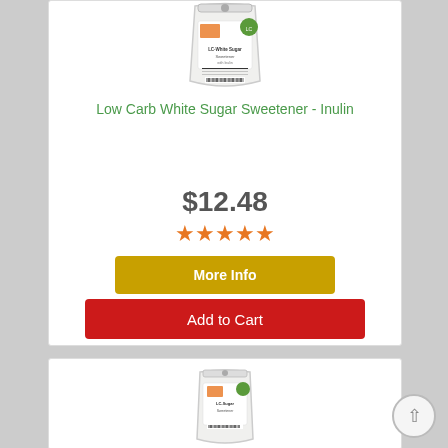[Figure (photo): White resealable bag of LC-White Sugar Sweetener with Inulin product, top portion of bag visible]
Low Carb White Sugar Sweetener - Inulin
$12.48
[Figure (other): Five orange star rating icons]
More Info
Add to Cart
[Figure (photo): White resealable bag of LC-Foods Sugar Sweetener product, second card partial view]